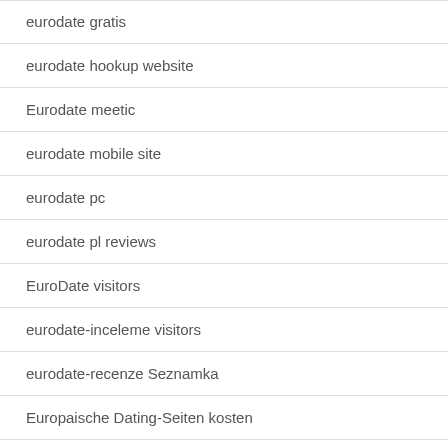eurodate gratis
eurodate hookup website
Eurodate meetic
eurodate mobile site
eurodate pc
eurodate pl reviews
EuroDate visitors
eurodate-inceleme visitors
eurodate-recenze Seznamka
Europaische Dating-Seiten kosten
europaische-dating-sites review